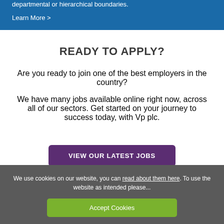departmental or hierarchical boundaries.
Learn More >
READY TO APPLY?
Are you ready to join one of the best employers in the country?
We have many jobs available online right now, across all of our sectors. Get started on your journey to success today, with Vp plc.
VIEW OUR LATEST JOBS
We use cookies on our website, you can read about them here. To use the website as intended please...
Accept Cookies